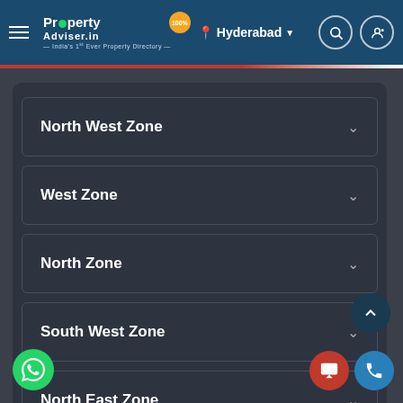PropertyAdviser.in — India's 1st Ever Property Directory — Hyderabad
North West Zone
West Zone
North Zone
South West Zone
North East Zone
South East Zone
South East Zone (partial)